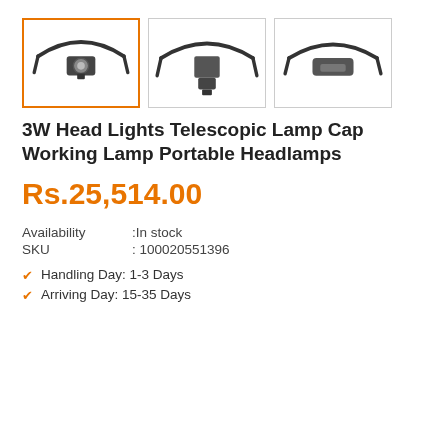[Figure (photo): Three thumbnail images of a 3W headlamp: first selected with orange border showing front view, second showing tilted view, third showing back view]
3W Head Lights Telescopic Lamp Cap Working Lamp Portable Headlamps
Rs.25,514.00
| Availability | :In stock |
| SKU | : 100020551396 |
Handling Day: 1-3 Days
Arriving Day: 15-35 Days